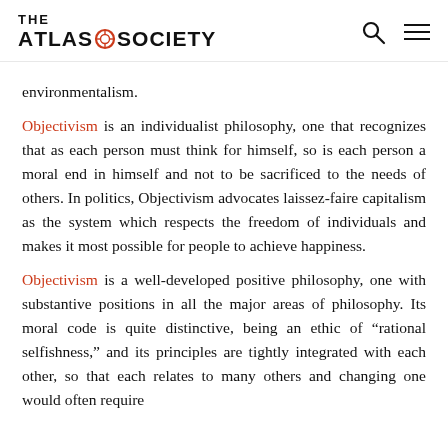THE ATLAS SOCIETY
environmentalism.
Objectivism is an individualist philosophy, one that recognizes that as each person must think for himself, so is each person a moral end in himself and not to be sacrificed to the needs of others. In politics, Objectivism advocates laissez-faire capitalism as the system which respects the freedom of individuals and makes it most possible for people to achieve happiness.
Objectivism is a well-developed positive philosophy, one with substantive positions in all the major areas of philosophy. Its moral code is quite distinctive, being an ethic of “rational selfishness,” and its principles are tightly integrated with each other, so that each relates to many others and changing one would often require